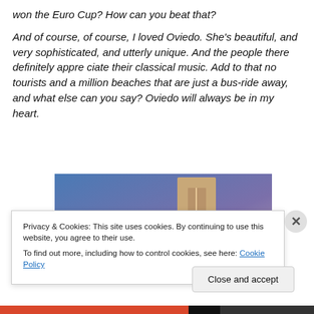won the Euro Cup? How can you beat that?
And of course, of course, I loved Oviedo. She's beautiful, and very sophisticated, and utterly unique. And the people there definitely appre ciate their classical music. Add to that no tourists and a million beaches that are just a bus-ride away, and what else can you say? Oviedo will always be in my heart.
[Figure (photo): Partial photo with blue-to-purple gradient background and a tan/beige rectangular shape in the center-right, likely a door or architectural element.]
Privacy & Cookies: This site uses cookies. By continuing to use this website, you agree to their use.
To find out more, including how to control cookies, see here: Cookie Policy
Close and accept